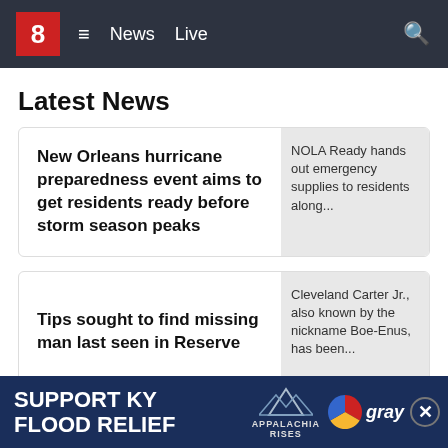8 News Live
Latest News
New Orleans hurricane preparedness event aims to get residents ready before storm season peaks
[Figure (photo): NOLA Ready hands out emergency supplies to residents along...]
Tips sought to find missing man last seen in Reserve
[Figure (photo): Cleveland Carter Jr., also known by the nickname Boe-Enus, has been...]
Man struck, killed on I-510 in New Orleans...
[Figure (photo): A pedestrian was struck and...]
[Figure (infographic): Ad banner: SUPPORT KY FLOOD RELIEF - Appalachia Rises - Gray television logo]